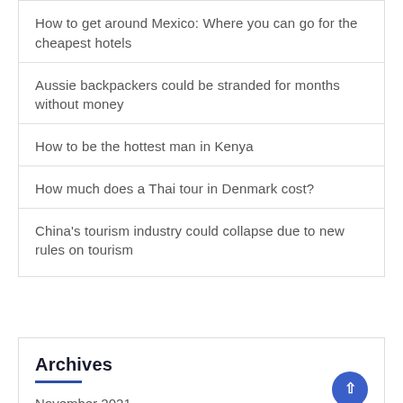How to get around Mexico: Where you can go for the cheapest hotels
Aussie backpackers could be stranded for months without money
How to be the hottest man in Kenya
How much does a Thai tour in Denmark cost?
China's tourism industry could collapse due to new rules on tourism
Archives
November 2021